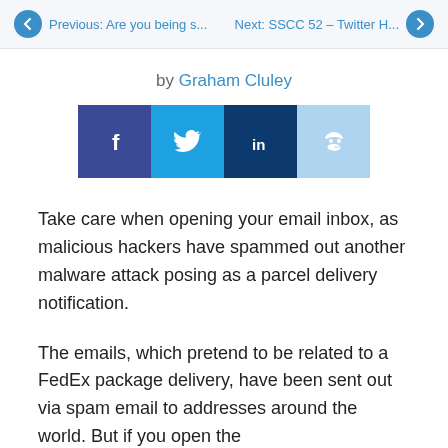Previous: Are you being s...    Next: SSCC 52 – Twitter H...
by Graham Cluley
[Figure (infographic): Social share buttons: Facebook (dark blue), Twitter (blue), LinkedIn (dark navy), Reddit (light blue)]
Take care when opening your email inbox, as malicious hackers have spammed out another malware attack posing as a parcel delivery notification.
The emails, which pretend to be related to a FedEx package delivery, have been sent out via spam email to addresses around the world. But if you open the